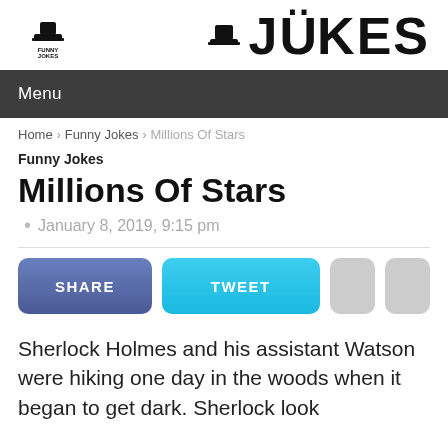JOKES
Menu
Home › Funny Jokes › Millions Of Stars
Funny Jokes
Millions Of Stars
January 8, 2019, 9:15 pm
SHARE   TWEET
Sherlock Holmes and his assistant Watson were hiking one day in the woods when it began to get dark. Sherlock looked up at the sky, using his instinctive powers to assess the situation...